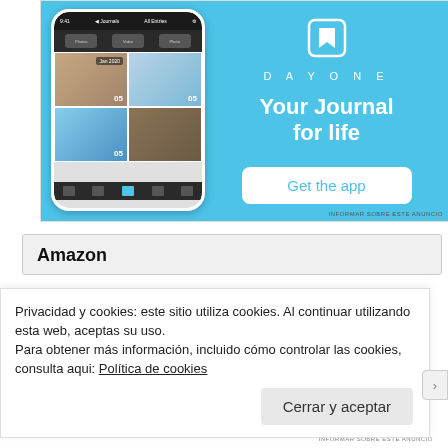[Figure (screenshot): DayOne app advertisement with phone mockup on blue background. Shows app screenshots on an iPhone with journal entries. Right side shows DayOne logo, tagline 'Your Journal for life', and 'Get the app' button.]
INFORMAR SOBRE ESTE ANUNCIO
Amazon
Privacidad y cookies: este sitio utiliza cookies. Al continuar utilizando esta web, aceptas su uso.
Para obtener más información, incluido cómo controlar las cookies, consulta aqui: Política de cookies
Cerrar y aceptar